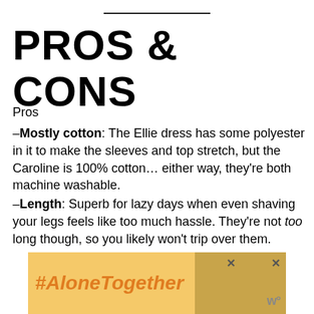PROS & CONS
Pros
–Mostly cotton: The Ellie dress has some polyester in it to make the sleeves and top stretch, but the Caroline is 100% cotton… either way, they're both machine washable.
–Length: Superb for lazy days when even shaving your legs feels like too much hassle. They're not too long though, so you likely won't trip over them.
[Figure (infographic): #AloneTogether advertisement banner with orange italic text on yellow background and a photo of a woman]